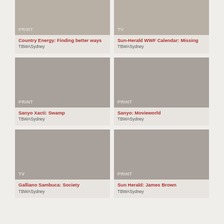[Figure (photo): Placeholder image for Country Energy: Finding better ways, labeled PRINT]
Country Energy: Finding better ways
TBWASydney
[Figure (photo): Placeholder image for Sun-Herald WWF Calendar: Missing, labeled TV]
Sun-Herald WWF Calendar: Missing
TBWASydney
[Figure (photo): Placeholder image for Sanyo Xacti: Swamp, labeled PRINT]
Sanyo Xacti: Swamp
TBWASydney
[Figure (photo): Placeholder image for Sanyo: Movieworld, labeled PRINT]
Sanyo: Movieworld
TBWASydney
[Figure (photo): Placeholder image for Galliano Sambuca: Society, labeled TV]
Galliano Sambuca: Society
TBWASydney
[Figure (photo): Placeholder image for Sun Herald: James Brown, labeled PRINT]
Sun Herald: James Brown
TBWASydney